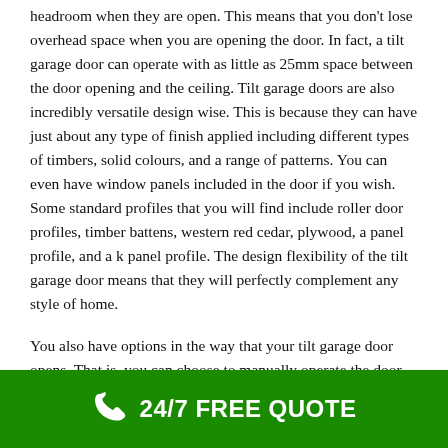headroom when they are open.  This means that you don't lose overhead space when you are opening the door.  In fact, a tilt garage door can operate with as little as 25mm space between the door opening and the ceiling.  Tilt garage doors are also incredibly versatile design wise.  This is because they can have just about any type of finish applied including different types of timbers, solid colours, and a range of patterns.  You can even have window panels included in the door if you wish.  Some standard profiles that you will find include roller door profiles, timber battens, western red cedar, plywood, a panel profile, and a k panel profile.  The design flexibility of the tilt garage door means that they will perfectly complement any style of home.
You also have options in the way that your tilt garage door opens.  That is, you can choose to manually operate the door (physically getting out of the car to unlock and open it) or to have the door automated.  An automated tilt garage door is
24/7 FREE QUOTE